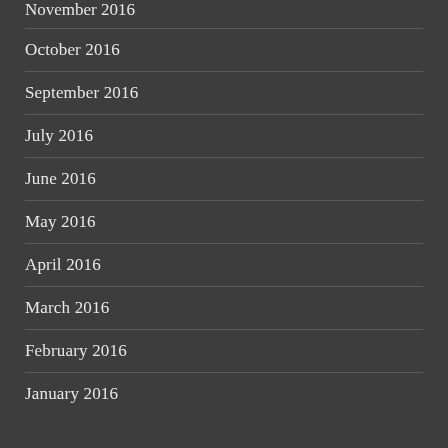November 2016
October 2016
September 2016
July 2016
June 2016
May 2016
April 2016
March 2016
February 2016
January 2016